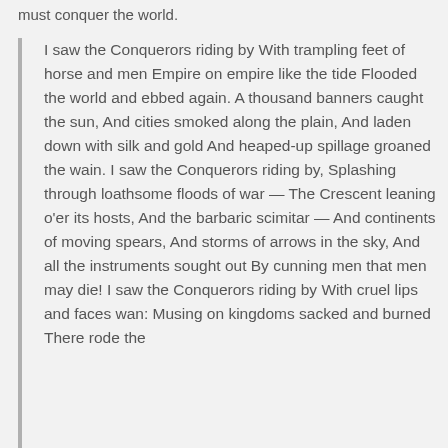must conquer the world.
I saw the Conquerors riding by With trampling feet of horse and men Empire on empire like the tide Flooded the world and ebbed again. A thousand banners caught the sun, And cities smoked along the plain, And laden down with silk and gold And heaped-up spillage groaned the wain. I saw the Conquerors riding by, Splashing through loathsome floods of war — The Crescent leaning o'er its hosts, And the barbaric scimitar — And continents of moving spears, And storms of arrows in the sky, And all the instruments sought out By cunning men that men may die! I saw the Conquerors riding by With cruel lips and faces wan: Musing on kingdoms sacked and burned There rode the